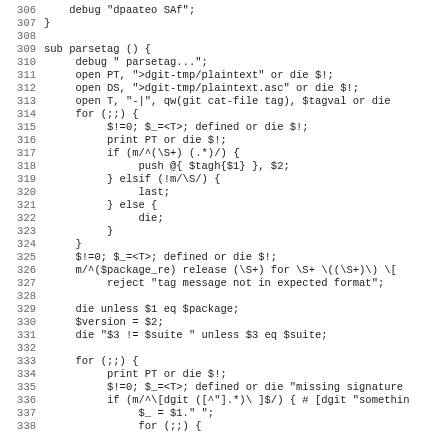[Figure (screenshot): Source code listing in monospace font showing Perl subroutine 'parsetag' with line numbers 306-338, including file open operations, for loops, regex matching, and variable assignments.]